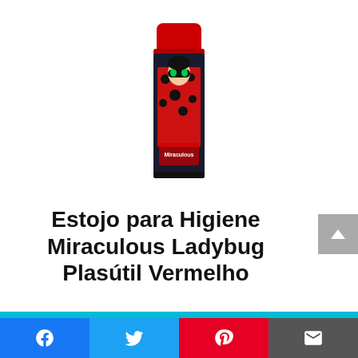[Figure (photo): Product photo of Estojo para Higiene Miraculous Ladybug Plasútil Vermelho — a dark rectangular hygiene case with a red rounded cap on top and a Miraculous Ladybug character illustration on the front]
Estojo para Higiene Miraculous Ladybug Plasútil Vermelho
[Figure (infographic): Social media sharing bar with Facebook, Twitter, Pinterest and email icons on colored backgrounds]